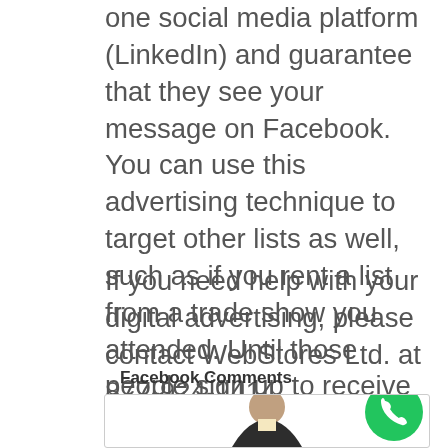one social media platform (LinkedIn) and guarantee that they see your message on Facebook. You can use this advertising technique to target other lists as well, such as if you rent a list from a trade show you attended. Until those people sign up to receive your emails, you can't spam them, but you can advertise to them, and this is a great way to do that.
If you need help with your digital advertising, please contact WebStores Ltd. at 877-924-1414.
Facebook Comments
[Figure (photo): A man in a business suit with a green phone call button in the bottom-right corner]